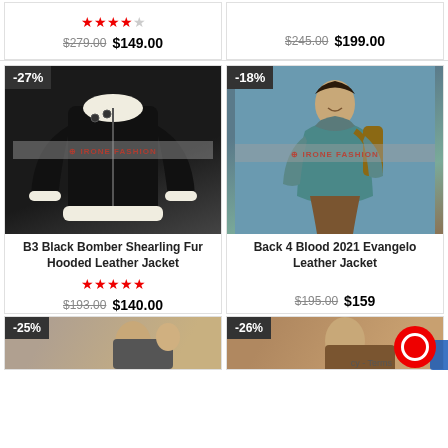[Figure (photo): Product card top row: left card with star rating 3.5/5, strikethrough price $279.00 and sale price $149.00. Right card with strikethrough price $245.00 and sale price $199.00.]
[Figure (photo): B3 Black Bomber Shearling Fur Hooded Leather Jacket product image, black leather jacket with white shearling fur trim, -27% discount badge, watermark overlay]
B3 Black Bomber Shearling Fur Hooded Leather Jacket
★★★★★ $193.00 $140.00
[Figure (photo): Back 4 Blood 2021 Evangelo Leather Jacket product image, game character wearing teal/blue jacket with backpack, -18% discount badge, watermark overlay]
Back 4 Blood 2021 Evangelo Leather Jacket
$195.00 $159...
[Figure (photo): Bottom row partial product cards showing -25% and -26% discount badges on partially visible jacket images]